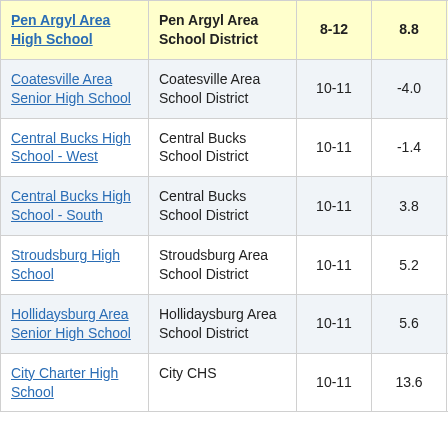| School | District | Grades | Score |  |
| --- | --- | --- | --- | --- |
| Pen Argyl Area High School | Pen Argyl Area School District | 8-12 | 8.8 |  |
| Coatesville Area Senior High School | Coatesville Area School District | 10-11 | -4.0 |  |
| Central Bucks High School - West | Central Bucks School District | 10-11 | -1.4 |  |
| Central Bucks High School - South | Central Bucks School District | 10-11 | 3.8 |  |
| Stroudsburg High School | Stroudsburg Area School District | 10-11 | 5.2 |  |
| Hollidaysburg Area Senior High School | Hollidaysburg Area School District | 10-11 | 5.6 |  |
| City Charter High School | City CHS | 10-11 | 13.6 |  |